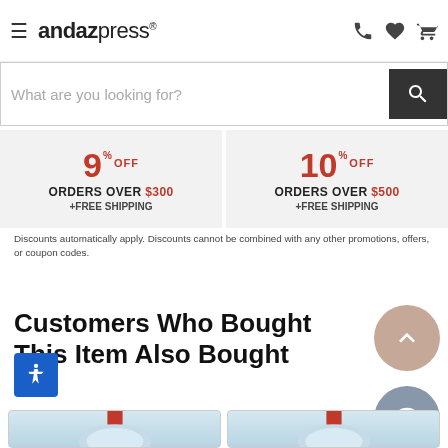[Figure (screenshot): Andaz Press website header with hamburger menu, logo, phone icon, heart icon, and cart icon]
[Figure (screenshot): Search bar with placeholder text 'What are you looking for?' and dark search button]
[Figure (infographic): Two discount boxes: 9% OFF orders over $300 +FREE SHIPPING, and 10% OFF orders over $500 +FREE SHIPPING]
Discounts automatically apply. Discounts cannot be combined with any other promotions, offers, or coupon codes.
Customers Who Bought This Item Also Bought
[Figure (photo): Christmas ornament product thumbnail - left]
[Figure (photo): Christmas ornament product thumbnail - right]